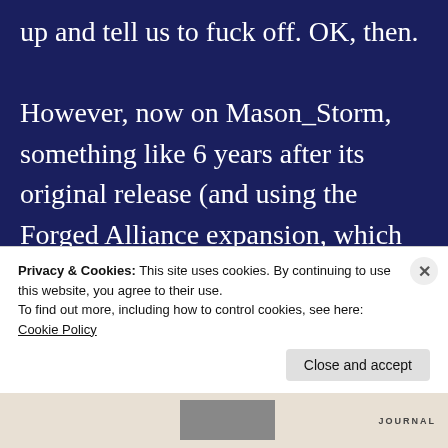up and tell us to fuck off. OK, then.

However, now on Mason_Storm, something like 6 years after its original release (and using the Forged Alliance expansion, which makes the UI look like something not designed for a CD ROM game in 1994), it runs.  It runs well.  And at
Privacy & Cookies: This site uses cookies. By continuing to use this website, you agree to their use.
To find out more, including how to control cookies, see here: Cookie Policy
Close and accept